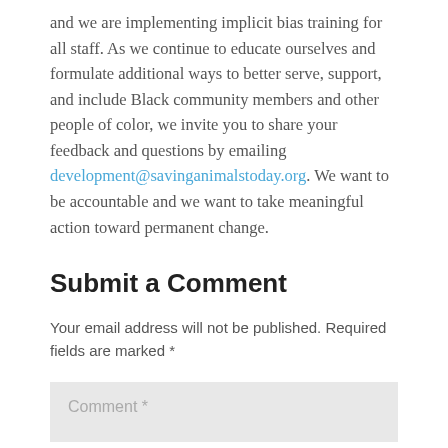and we are implementing implicit bias training for all staff. As we continue to educate ourselves and formulate additional ways to better serve, support, and include Black community members and other people of color, we invite you to share your feedback and questions by emailing development@savinganimalstoday.org. We want to be accountable and we want to take meaningful action toward permanent change.
Submit a Comment
Your email address will not be published. Required fields are marked *
Comment *